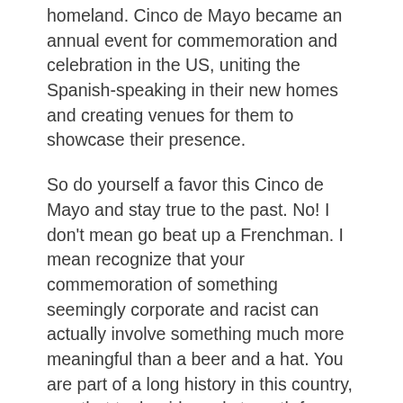homeland. Cinco de Mayo became an annual event for commemoration and celebration in the US, uniting the Spanish-speaking in their new homes and creating venues for them to showcase their presence.
So do yourself a favor this Cinco de Mayo and stay true to the past. No! I don't mean go beat up a Frenchman. I mean recognize that your commemoration of something seemingly corporate and racist can actually involve something much more meaningful than a beer and a hat. You are part of a long history in this country, one that took pride and strength from this day.
[Figure (other): Social media share icons row: Twitter/blue circle, Facebook/blue circle, Pinterest/red circle, dark circle, grey circle]